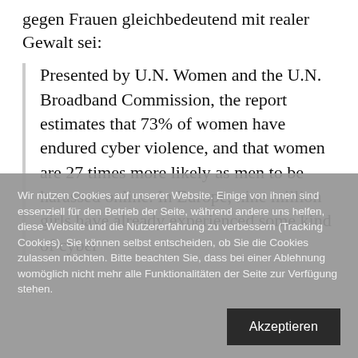gegen Frauen gleichbedeutend mit realer Gewalt sei:
Presented by U.N. Women and the U.N. Broadband Commission, the report estimates that 73% of women have endured cyber violence, and that women are 27 times more likely as men to be harassed online. In Europe, nine million girls have already experienced some kind of cyber
Wir nutzen Cookies auf unserer Website. Einige von ihnen sind essenziell für den Betrieb der Seite, während andere uns helfen, diese Website und die Nutzererfahrung zu verbessern (Tracking Cookies). Sie können selbst entscheiden, ob Sie die Cookies zulassen möchten. Bitte beachten Sie, dass bei einer Ablehnung womöglich nicht mehr alle Funktionalitäten der Seite zur Verfügung stehen.
Akzeptieren